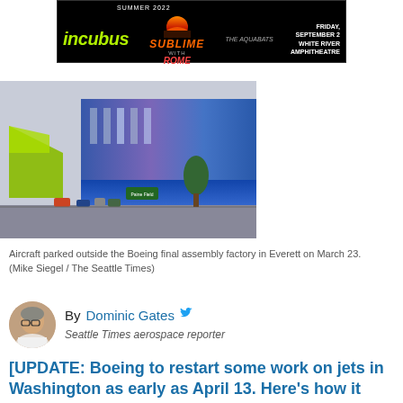[Figure (other): Advertisement banner for Incubus, Sublime with Rome, and The Aquabats concert, Summer 2022, Friday September 2, White River Amphitheatre]
[Figure (photo): Aircraft parked outside the Boeing final assembly factory in Everett]
Aircraft parked outside the Boeing final assembly factory in Everett on March 23. (Mike Siegel / The Seattle Times)
[Figure (photo): Headshot photo of author Dominic Gates]
By Dominic Gates
Seattle Times aerospace reporter
[UPDATE: Boeing to restart some work on jets in Washington as early as April 13. Here's how it